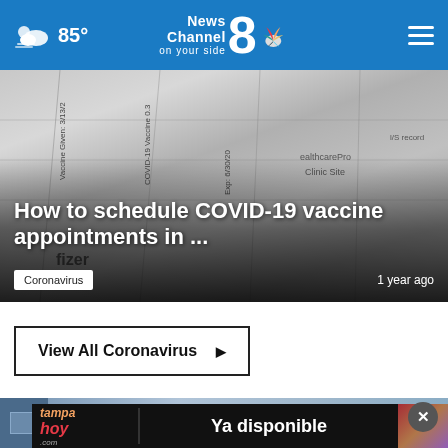News Channel 8 on your side — 85°
[Figure (photo): COVID-19 vaccine appointment card / vaccination record document shown close-up in black and white]
How to schedule COVID-19 vaccine appointments in ...
Coronavirus   1 year ago
View All Coronavirus ▶
[Figure (photo): Bottom section showing a partial news image with a tampahoy.com advertisement overlay reading 'Ya disponible' and a close button]